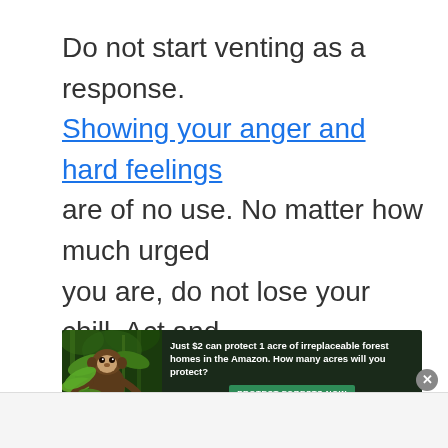Do not start venting as a response. Showing your anger and hard feelings are of no use. No matter how much urged you are, do not lose your chill. Act and play cool.
[Figure (infographic): Advertisement banner for Amazon forest protection. Shows a monkey/primate in a forest setting on the left. Text reads: 'Just $2 can protect 1 acre of irreplaceable forest homes in the Amazon. How many acres will you protect?' with a green 'PROTECT FORESTS NOW' button.]